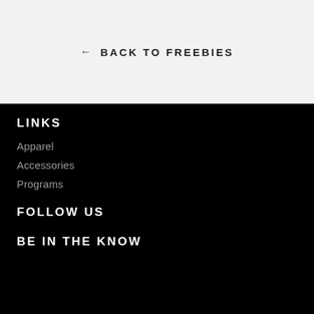← BACK TO FREEBIES
LINKS
Apparel
Accessories
Programs
FOLLOW US
BE IN THE KNOW